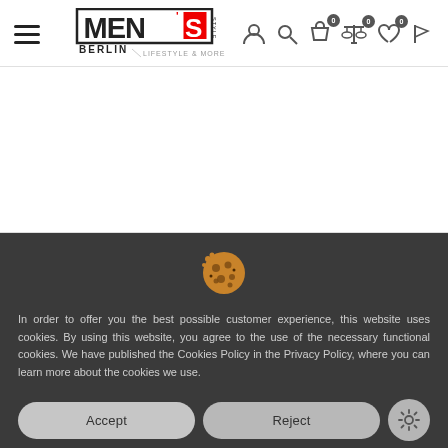[Figure (logo): men's style BERLIN LIFESTYLE & MORE logo at top center]
[Figure (infographic): Navigation bar with hamburger menu icon on left; user, search, cart (badge 0), compare (badge 0), wishlist (badge 0), flag icons on right]
[Figure (illustration): Cookie emoji icon above the cookie consent banner]
In order to offer you the best possible customer experience, this website uses cookies. By using this website, you agree to the use of the necessary functional cookies. We have published the Cookies Policy in the Privacy Policy, where you can learn more about the cookies we use.
[Figure (screenshot): Cookie consent buttons: Accept, Reject, and settings gear icon]